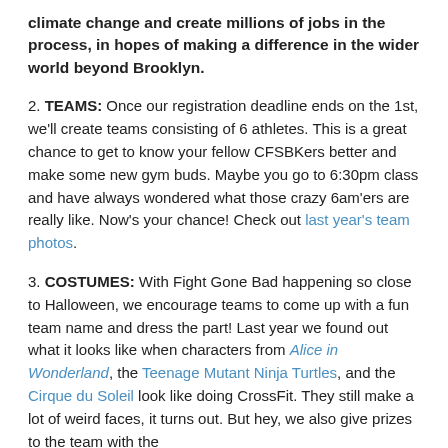climate change and create millions of jobs in the process, in hopes of making a difference in the wider world beyond Brooklyn.
2. TEAMS: Once our registration deadline ends on the 1st, we'll create teams consisting of 6 athletes. This is a great chance to get to know your fellow CFSBKers better and make some new gym buds. Maybe you go to 6:30pm class and have always wondered what those crazy 6am'ers are really like. Now's your chance! Check out last year's team photos.
3. COSTUMES: With Fight Gone Bad happening so close to Halloween, we encourage teams to come up with a fun team name and dress the part! Last year we found out what it looks like when characters from Alice in Wonderland, the Teenage Mutant Ninja Turtles, and the Cirque du Soleil look like doing CrossFit. They still make a lot of weird faces, it turns out. But hey, we also give prizes to the team with the